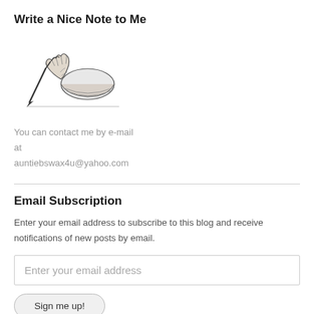Write a Nice Note to Me
[Figure (illustration): Black and white vintage illustration of a hand holding a pen/quill, writing]
You can contact me by e-mail at auntiebswax4u@yahoo.com
Email Subscription
Enter your email address to subscribe to this blog and receive notifications of new posts by email.
Enter your email address
Sign me up!